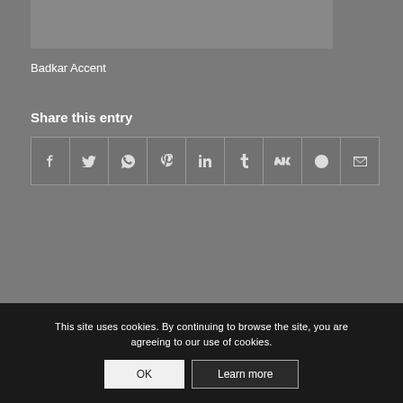[Figure (photo): Partial image visible at top of page, gray/dark content]
Badkar Accent
Share this entry
[Figure (infographic): Social share buttons row: Facebook, Twitter, WhatsApp, Pinterest, LinkedIn, Tumblr, VK, Reddit, Email]
This site uses cookies. By continuing to browse the site, you are agreeing to our use of cookies.
OK
Learn more